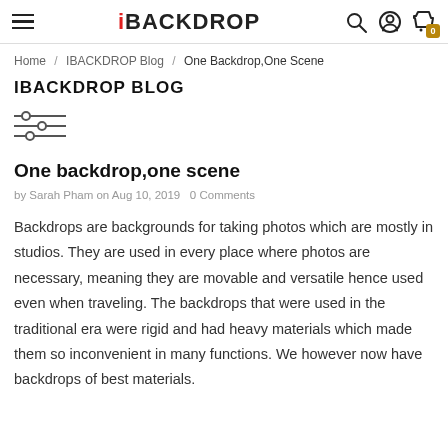iBackdrop — navigation header with hamburger menu, logo, search, account, and cart icons
Home / IBACKDROP Blog / One Backdrop,One Scene
IBACKDROP BLOG
[Figure (other): Filter/settings icon with three horizontal sliders]
One backdrop,one scene
by Sarah Pham on Aug 10, 2019   0 Comments
Backdrops are backgrounds for taking photos which are mostly in studios. They are used in every place where photos are necessary, meaning they are movable and versatile hence used even when traveling. The backdrops that were used in the traditional era were rigid and had heavy materials which made them so inconvenient in many functions. We however now have backdrops of best materials.